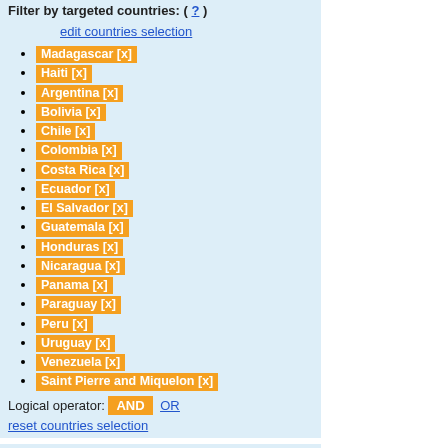Filter by targeted countries: ( ? )
edit countries selection
Madagascar [x]
Haiti [x]
Argentina [x]
Bolivia [x]
Chile [x]
Colombia [x]
Costa Rica [x]
Ecuador [x]
El Salvador [x]
Guatemala [x]
Honduras [x]
Nicaragua [x]
Panama [x]
Paraguay [x]
Peru [x]
Uruguay [x]
Venezuela [x]
Saint Pierre and Miquelon [x]
Logical operator: AND OR
reset countries selection
Filter by work programme: ( ? )
ERC (0)
FET (0)
MC (0)
RIS (0)